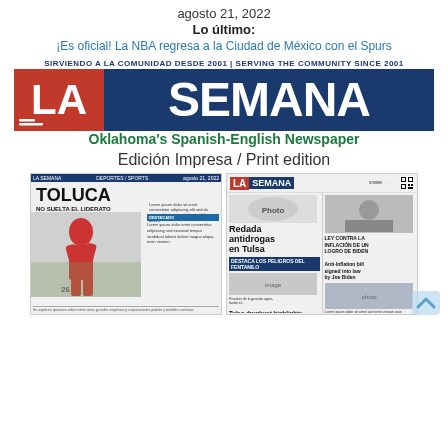agosto 21, 2022
Lo último:
¡Es oficial! La NBA regresa a la Ciudad de México con el Spurs
[Figure (logo): La Semana newspaper logo with tagline 'Sirviendo a la Comunidad Desde 2001 | Serving the Community Since 2001' and subtitle 'Oklahoma's Spanish-English Newspaper']
Edición Impresa / Print edition
[Figure (photo): Two newspaper front pages side by side: left page shows 'TOLUCA NO SUELTA EL LIDERATO' with soccer player; right page shows La Semana masthead with 'Redada antidrogas en Tulsa' headline]